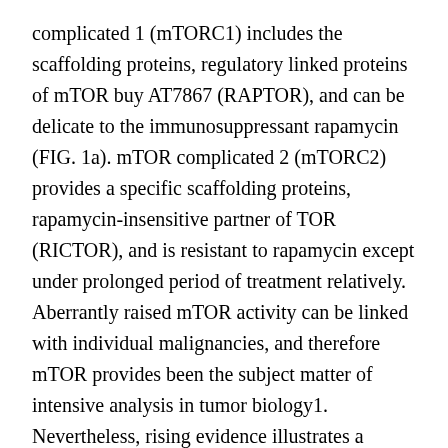complicated 1 (mTORC1) includes the scaffolding proteins, regulatory linked proteins of mTOR buy AT7867 (RAPTOR), and can be delicate to the immunosuppressant rapamycin (FIG. 1a). mTOR complicated 2 (mTORC2) provides a specific scaffolding proteins, rapamycin-insensitive partner of TOR (RICTOR), and is resistant to rapamycin except under prolonged period of treatment relatively. Aberrantly raised mTOR activity can be linked with individual malignancies, and therefore mTOR provides been the subject matter of intensive analysis in tumor biology1. Nevertheless, rising evidence illustrates a important function of mTOR signalling in both the adaptive and natural resistant systems. Shape 1 Control and function of mTOR signalling paths in Testosterone levels cells The result of an adaptive resistant response is dependent on the realizing of antigenic and